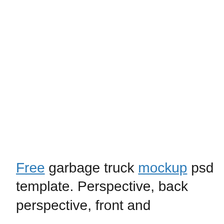Free garbage truck mockup psd template. Perspective, back perspective, front and